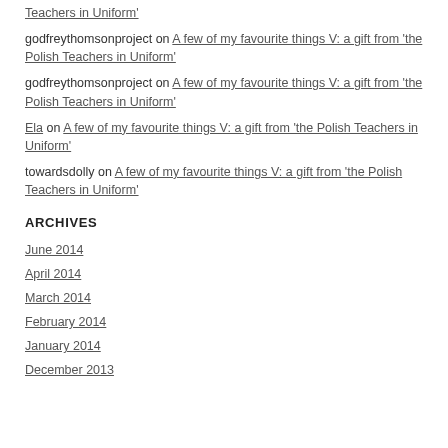Teachers in Uniform'
godfreythomsonproject on A few of my favourite things V: a gift from 'the Polish Teachers in Uniform'
godfreythomsonproject on A few of my favourite things V: a gift from 'the Polish Teachers in Uniform'
Ela on A few of my favourite things V: a gift from 'the Polish Teachers in Uniform'
towardsdolly on A few of my favourite things V: a gift from 'the Polish Teachers in Uniform'
ARCHIVES
June 2014
April 2014
March 2014
February 2014
January 2014
December 2013